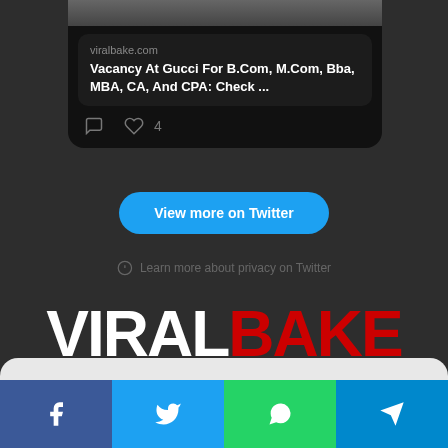[Figure (screenshot): Twitter/X embed card showing viralbake.com link with title 'Vacancy At Gucci For B.Com, M.Com, Bba, MBA, CA, And CPA: Check ...' with comment and like (4) icons below]
View more on Twitter
Learn more about privacy on Twitter
[Figure (logo): VIRALBAKE logo with VIRAL in white bold text and BAKE in red bold text on dark background]
[Figure (infographic): Social share buttons row: Facebook (blue), Twitter (light blue), WhatsApp (green), Telegram (blue)]